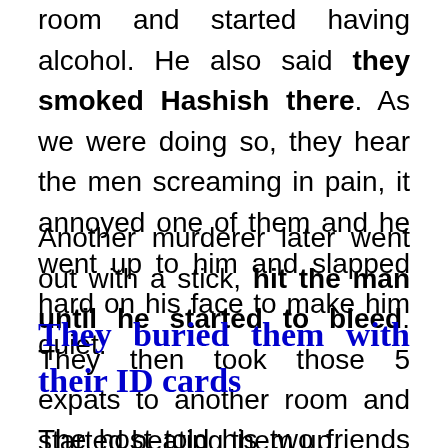room and started having alcohol. He also said they smoked Hashish there. As we were doing so, they hear the men screaming in pain, it annoyed one of them and he went up to him and slapped hard on his face to make him quiet.
Another murderer later went out with a stick, hit the man until he started to bleed. They then took those 5 expats to another room and started beating them up.
They buried them with their ID cards
The host told his two friends that there was a